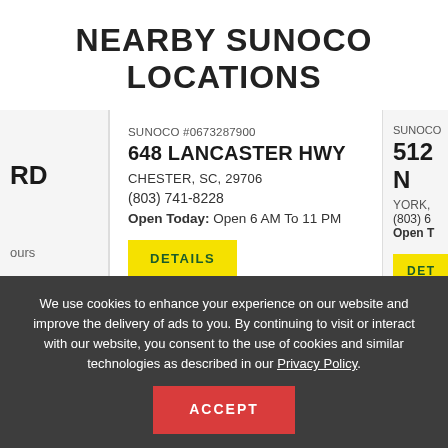NEARBY SUNOCO LOCATIONS
SUNOCO #0673287900
648 LANCASTER HWY
CHESTER, SC, 29706
(803) 741-8228
Open Today: Open 6 AM To 11 PM
DETAILS
512 N
YORK,
(803) 6
Open T
DET
We use cookies to enhance your experience on our website and improve the delivery of ads to you. By continuing to visit or interact with our website, you consent to the use of cookies and similar technologies as described in our Privacy Policy.
ACCEPT